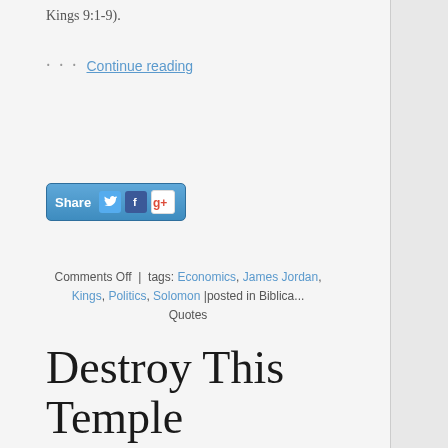Kings 9:1-9).
… Continue reading
[Figure (other): Share button with Twitter, Facebook, and Google+ social media icons]
Comments Off  |  tags: Economics, James Jordan, Kings, Politics, Solomon  |  posted in Biblica... Quotes
Destroy This Temple